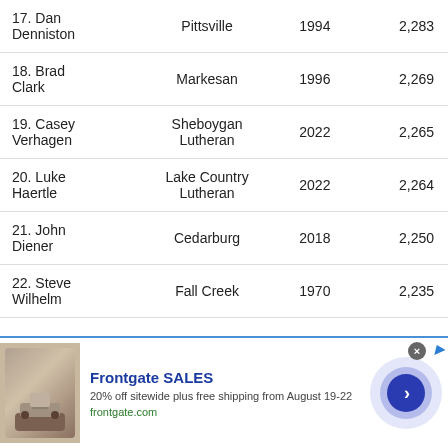| 17. Dan Denniston | Pittsville | 1994 | 2,283 |
| 18. Brad Clark | Markesan | 1996 | 2,269 |
| 19. Casey Verhagen | Sheboygan Lutheran | 2022 | 2,265 |
| 20. Luke Haertle | Lake Country Lutheran | 2022 | 2,264 |
| 21. John Diener | Cedarburg | 2018 | 2,250 |
| 22. Steve Wilhelm | Fall Creek | 1970 | 2,235 |
[Figure (screenshot): Advertisement banner for Frontgate SALES: 20% off sitewide plus free shipping from August 19-22. Shows outdoor furniture image, frontgate.com URL, navigation arrow button, and close/dismiss controls.]